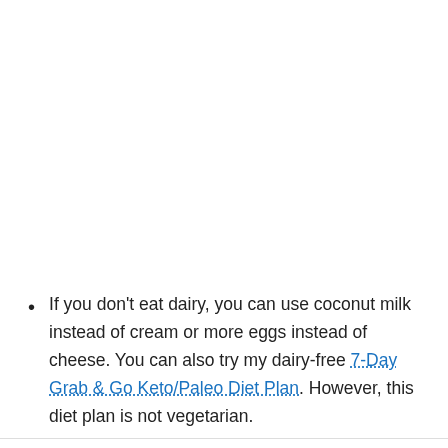If you don't eat dairy, you can use coconut milk instead of cream or more eggs instead of cheese. You can also try my dairy-free 7-Day Grab & Go Keto/Paleo Diet Plan. However, this diet plan is not vegetarian.
Instead of a Keto Bun: 1 Low-carb Bagel or a 1-2 slices of Low-Carb "Rye" Bread or these buns (no psyllium) or